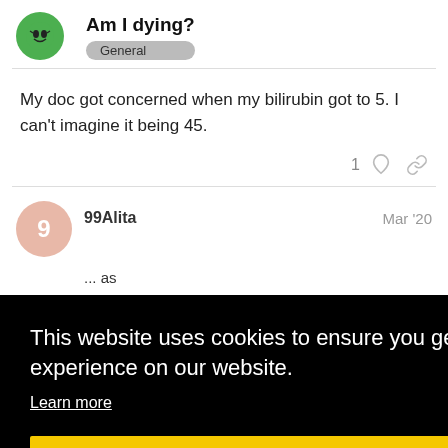Am I dying?
General
My doc got concerned when my bilirubin got to 5. I can't imagine it being 45.
99Alita  Mar '20
This website uses cookies to ensure you get the best experience on our website. Learn more Got it!